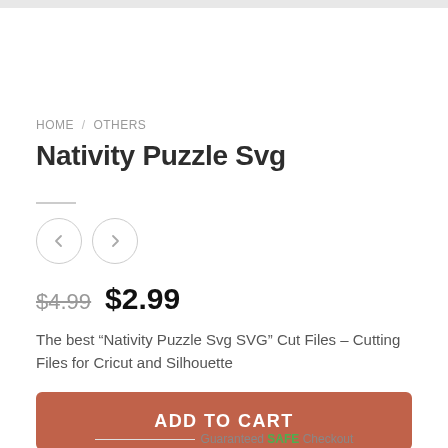HOME / OTHERS
Nativity Puzzle Svg
$4.99  $2.99
The best “Nativity Puzzle Svg SVG” Cut Files – Cutting Files for Cricut and Silhouette
ADD TO CART
Guaranteed SAFE Checkout